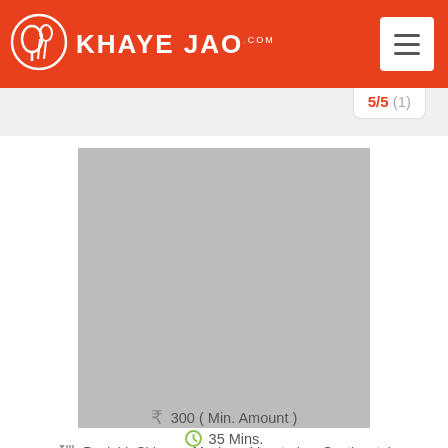KHAYE JAO.com
5/5 (1)
[Figure (photo): Restaurant placeholder image - gray rectangle]
Punjabi, Chinese, Mexican, Vegetarian, Continental
₹  300 ( Min. Amount )
35 Mins.